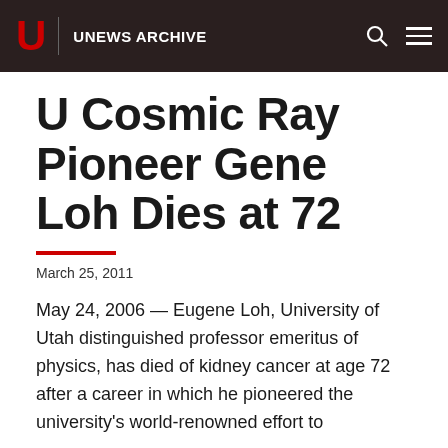U UNEWS ARCHIVE
U Cosmic Ray Pioneer Gene Loh Dies at 72
March 25, 2011
May 24, 2006 — Eugene Loh, University of Utah distinguished professor emeritus of physics, has died of kidney cancer at age 72 after a career in which he pioneered the university's world-renowned effort to